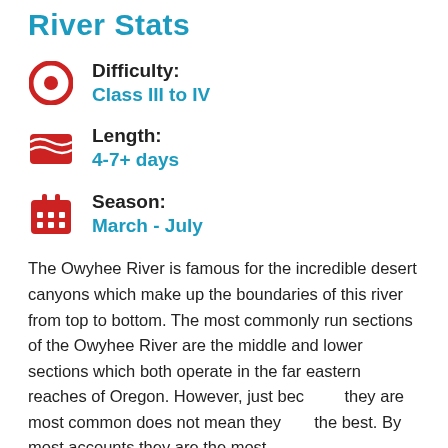River Stats
Difficulty: Class III to IV
Length: 4-7+ days
Season: March - July
The Owyhee River is famous for the incredible desert canyons which make up the boundaries of this river from top to bottom. The most commonly run sections of the Owyhee River are the middle and lower sections which both operate in the far eastern reaches of Oregon.  However, just because they are most common does not mean they are the best.  By most accounts they are the most